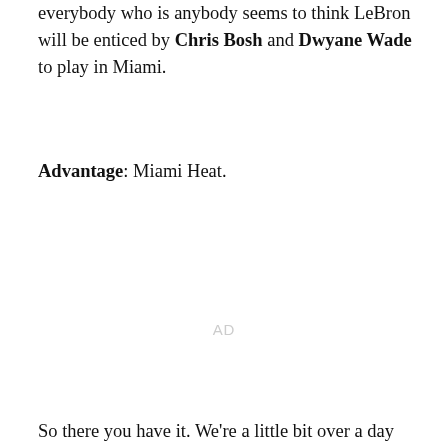everybody who is anybody seems to think LeBron will be enticed by Chris Bosh and Dwyane Wade to play in Miami.
Advantage: Miami Heat.
AD
So there you have it. We're a little bit over a day away